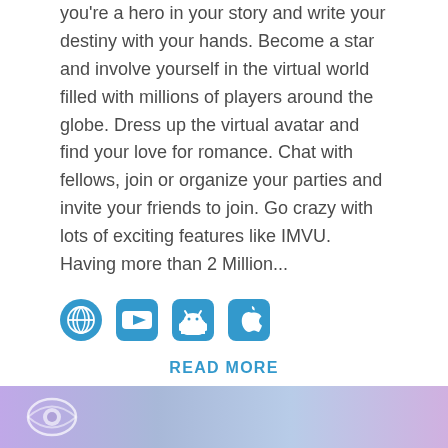you're a hero in your story and write your destiny with your hands. Become a star and involve yourself in the virtual world filled with millions of players around the globe. Dress up the virtual avatar and find your love for romance. Chat with fellows, join or organize your parties and invite your friends to join. Go crazy with lots of exciting features like IMVU. Having more than 2 Million...
[Figure (infographic): Row of four blue platform/social icons: globe, YouTube play button, Android robot, Apple logo]
READ MORE
7. IMVU - Wanna Make Friends
[Figure (photo): Bottom preview image with purple/blue gradient background showing partial eye/face logo]